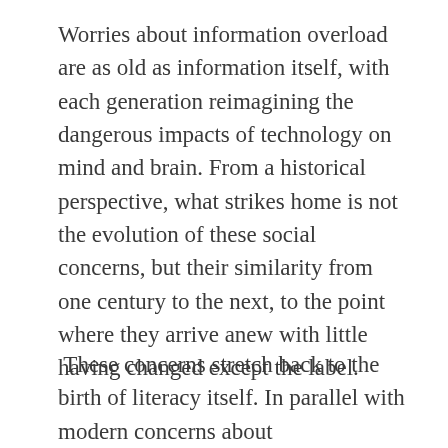Worries about information overload are as old as information itself, with each generation reimagining the dangerous impacts of technology on mind and brain. From a historical perspective, what strikes home is not the evolution of these social concerns, but their similarity from one century to the next, to the point where they arrive anew with little having changed except the label.
These concerns stretch back to the birth of literacy itself. In parallel with modern concerns about